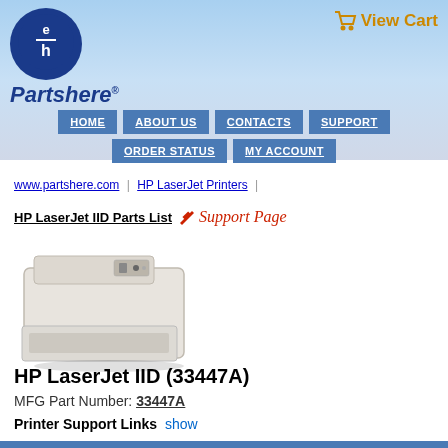[Figure (logo): Partshere logo: blue circle with stylized 'e' and 'h' letters, with italic bold 'Partshere®' text below]
[Figure (other): Shopping cart icon with 'View Cart' text in gold/orange]
HOME
ABOUT US
CONTACTS
SUPPORT
ORDER STATUS
MY ACCOUNT
www.partshere.com | HP LaserJet Printers |
HP LaserJet IID Parts List  🔧 Support Page
[Figure (photo): HP LaserJet IID printer, white/beige color, front-facing with paper tray open]
HP LaserJet IID (33447A)
MFG Part Number: 33447A
Printer Support Links  show